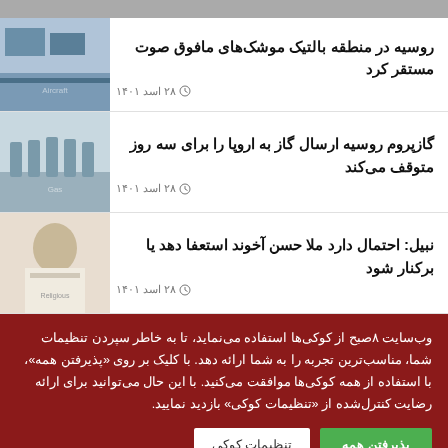[Figure (photo): Partial top image strip visible at top of page]
روسیه در منطقه بالتیک موشک‌های مافوق صوت مستقر کرد
۲۸ اسد ۱۴۰۱
[Figure (photo): Military aircraft on airfield]
گازپروم روسیه ارسال گاز به اروپا را برای سه روز متوقف می‌کند
۲۸ اسد ۱۴۰۱
[Figure (photo): Gas pipeline infrastructure]
نبیل: احتمال دارد ملا حسن آخوند استعفا دهد یا برکنار شود
۲۸ اسد ۱۴۰۱
[Figure (photo): Religious figure seated at desk]
وب‌سایت ۸صبح از کوکی‌ها استفاده می‌نماید، تا به خاطر سپردن تنظیمات شما، مناسب‌ترین تجربه را به شما ارائه دهد. با کلیک بر روی «پذیرفتن همه»، با استفاده از همه کوکی‌ها موافقت می‌کنید. با این حال می‌توانید برای ارائه رضایت کنترل‌شده از «تنظیمات کوکی» بازدید نمایید.
پذیرفتن همه
تنظیمات کوکی